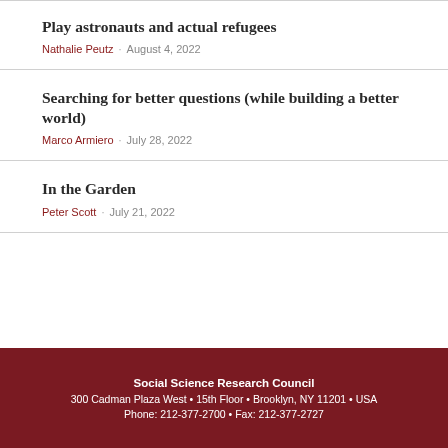Play astronauts and actual refugees
Nathalie Peutz · August 4, 2022
Searching for better questions (while building a better world)
Marco Armiero · July 28, 2022
In the Garden
Peter Scott · July 21, 2022
Social Science Research Council
300 Cadman Plaza West • 15th Floor • Brooklyn, NY 11201 • USA
Phone: 212-377-2700 • Fax: 212-377-2727